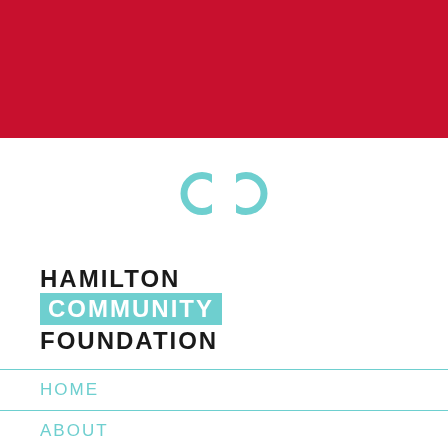[Figure (logo): Red banner bar at the top of the page]
[Figure (logo): Hamilton Community Foundation infinity loop logo in teal/turquoise]
HAMILTON COMMUNITY FOUNDATION
HOME
ABOUT
LEADERSHIP
STORIES